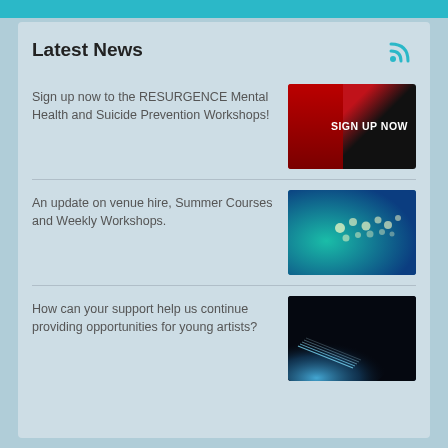Latest News
Sign up now to the RESURGENCE Mental Health and Suicide Prevention Workshops!
[Figure (photo): Red and black promotional image with text SIGN UP NOW on dark background]
An update on venue hire, Summer Courses and Weekly Workshops.
[Figure (photo): Teal and blue gradient image with blurred stage lights dots]
How can your support help us continue providing opportunities for young artists?
[Figure (photo): Dark image with blue spotlight beams on black background]